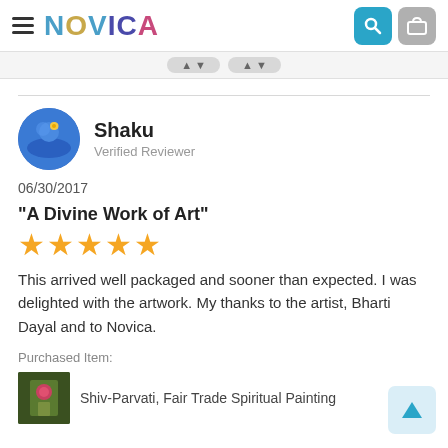NOVICA
Shaku
Verified Reviewer
06/30/2017
"A Divine Work of Art"
[Figure (other): 5 gold stars rating]
This arrived well packaged and sooner than expected. I was delighted with the artwork. My thanks to the artist, Bharti Dayal and to Novica.
Purchased Item:
Shiv-Parvati, Fair Trade Spiritual Painting